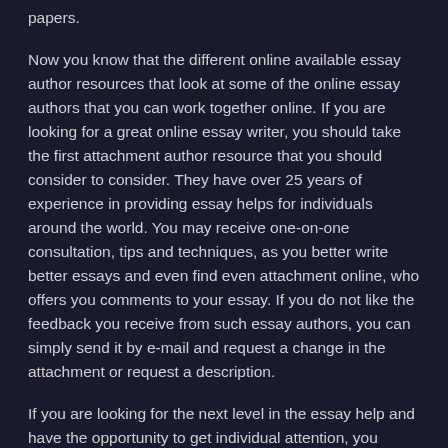papers.
Now you know that the different online available essay author resources that look at some of the online essay authors that you can work together online. If you are looking for a great online essay writer, you should take the first attachment author resource that you should consider to consider. They have over 25 years of experience in providing essay helps for individuals around the world. You may receive one-on-one consultation, tips and techniques, as you better write better essays and even find even attachment online, who offers you comments to your essay. If you do not like the feedback you receive from such essay authors, you can simply send it by e-mail and request a change in the attachment or request a description.
If you are looking for the next level in the essay help and have the opportunity to get individual attention, you should start exploring the expert essay author Michael Webb. If you work with a professional attachment writer like Michael Webb, you will normally be assigned only one essay writer for a specific project. In such cases, they would then write their own essay, rather than working with a whole team of people to exclude the same academic tasks. Since each attachment is customized, you can expect your attachment to be written in essay in essay to your own speed and in a style that meets your needs.
Another way to get individual attention and make sure that you get